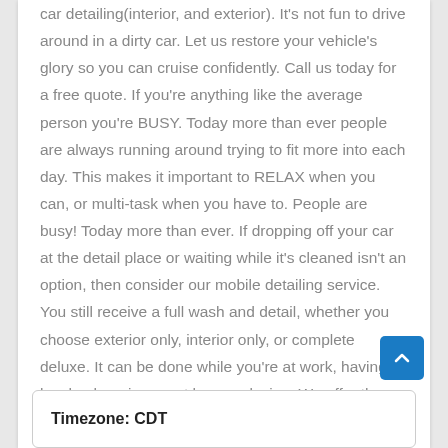car detailing(interior, and exterior). It's not fun to drive around in a dirty car. Let us restore your vehicle's glory so you can cruise confidently. Call us today for a free quote. If you're anything like the average person you're BUSY. Today more than ever people are always running around trying to fit more into each day. This makes it important to RELAX when you can, or multi-task when you have to. People are busy! Today more than ever. If dropping off your car at the detail place or waiting while it's cleaned isn't an option, then consider our mobile detailing service. You still receive a full wash and detail, whether you choose exterior only, interior only, or complete deluxe. It can be done while you're at work, having lunch, shopping, or at home relaxing. We offer the best mobile car detailing Birmingham AL!
Timezone: CDT